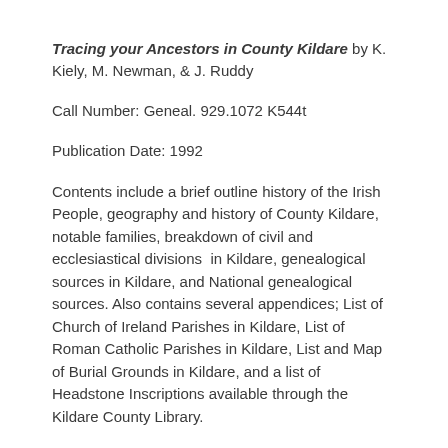Tracing your Ancestors in County Kildare by K. Kiely, M. Newman, & J. Ruddy
Call Number: Geneal. 929.1072 K544t
Publication Date: 1992
Contents include a brief outline history of the Irish People, geography and history of County Kildare, notable families, breakdown of civil and ecclesiastical divisions  in Kildare, genealogical sources in Kildare, and National genealogical sources. Also contains several appendices; List of Church of Ireland Parishes in Kildare, List of Roman Catholic Parishes in Kildare, List and Map of Burial Grounds in Kildare, and a list of Headstone Inscriptions available through the Kildare County Library.